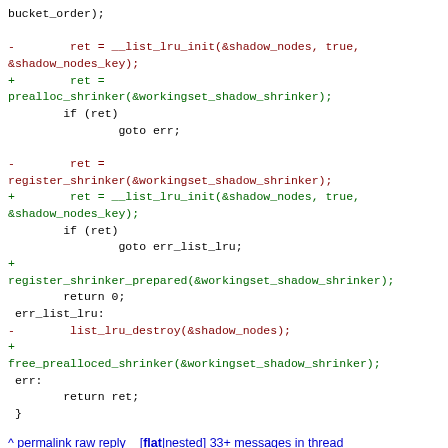Code diff showing workingset shadow shrinker refactoring
^ permalink raw reply [flat|nested] 33+ messages in thread
* [PATCH v5 05/13] fs: Refactoring in alloc_super()